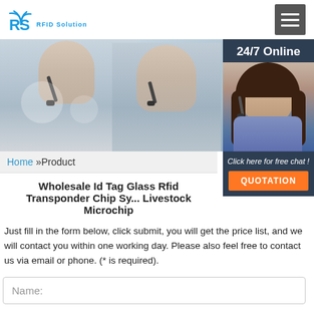[Figure (logo): RS RFID Solution logo with wifi-style icon and blue text]
[Figure (photo): Hero banner showing two call center agents with headsets, and a 24/7 Online panel with female agent photo on right side]
Home »Product
Wholesale Id Tag Glass Rfid Transponder Chip Sy... Livestock Microchip
Click here for free chat !
QUOTATION
Just fill in the form below, click submit, you will get the price list, and we will contact you within one working day. Please also feel free to contact us via email or phone. (* is required).
Name: